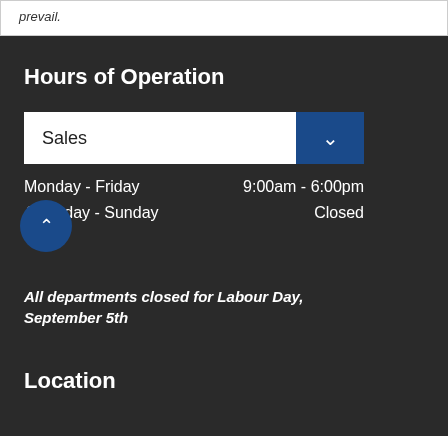prevail.
Hours of Operation
Sales
Monday - Friday    9:00am - 6:00pm
Saturday - Sunday    Closed
All departments closed for Labour Day, September 5th
Location